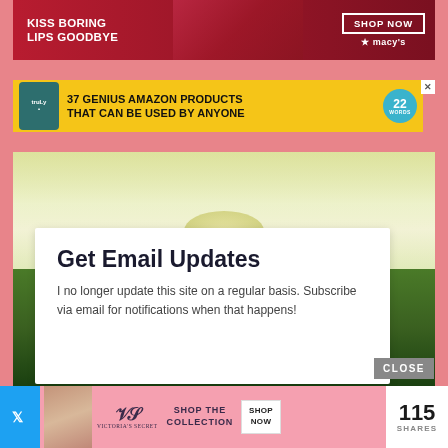[Figure (photo): Macy's advertisement banner: woman with red lipstick, text 'KISS BORING LIPS GOODBYE', 'SHOP NOW', Macy's star logo on dark red background]
[Figure (photo): Amazon ad banner on yellow background: supplement bottle, text '37 GENIUS AMAZON PRODUCTS THAT CAN BE USED BY ANYONE', teal badge with '22 WORDS']
[Figure (photo): White flower close-up photo with green leaves in background, overlaid with a white card]
Get Email Updates
I no longer update this site on a regular basis. Subscribe via email for notifications when that happens!
[Figure (photo): Victoria's Secret advertisement: woman model, VS logo, 'SHOP THE COLLECTION', 'SHOP NOW' button]
115 SHARES